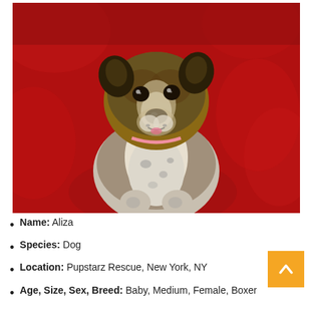[Figure (photo): A brindle and white puppy (Boxer mix) sitting upright on a red blanket/cushion, looking directly at the camera. The puppy has a white chest, brindle markings on the face and body, folded ears, and is wearing a small pink collar.]
Name: Aliza
Species: Dog
Location: Pupstarz Rescue, New York, NY
Age, Size, Sex, Breed: Baby, Medium, Female, Boxer